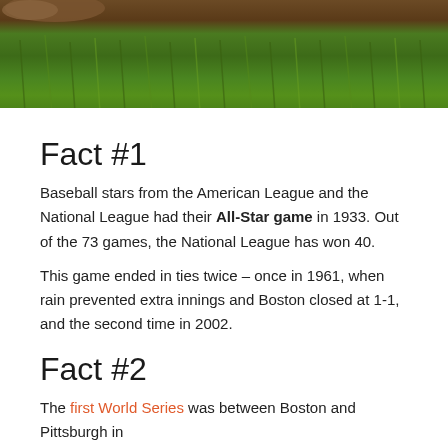[Figure (photo): Close-up photo of grass field with what appears to be a shoe/boot at the top left, green grass filling the frame]
Fact #1
Baseball stars from the American League and the National League had their All-Star game in 1933. Out of the 73 games, the National League has won 40.
This game ended in ties twice – once in 1961, when rain prevented extra innings and Boston closed at 1-1, and the second time in 2002.
Fact #2
The first World Series was between Boston and Pittsburgh in